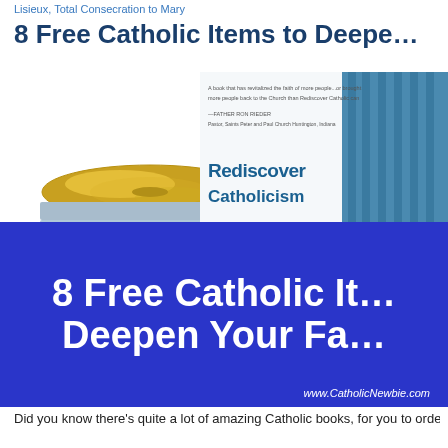Lisieux, Total Consecration to Mary
8 Free Catholic Items to Deepen
[Figure (photo): Stack of CDs/DVDs on the left, and a partially visible book cover 'Rediscovering Catholicism: A Spiritual Guide to Living with Passion & Purpose' on the right]
[Figure (infographic): Blue banner with white bold text: '8 Free Catholic It... Deepen Your Fa...' and URL www.CatholicNewbie.com]
Did you know there’s quite a lot of amazing Catholic books, for you to order them at either no cost or for a very small shi